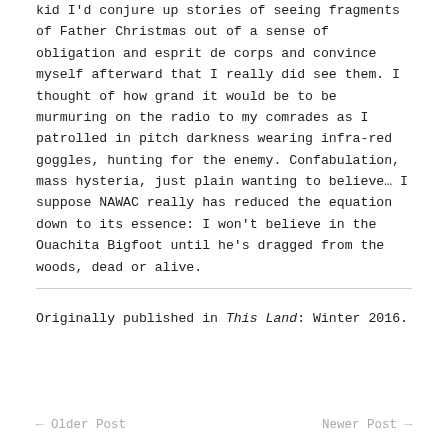kid I'd conjure up stories of seeing fragments of Father Christmas out of a sense of obligation and esprit de corps and convince myself afterward that I really did see them. I thought of how grand it would be to be murmuring on the radio to my comrades as I patrolled in pitch darkness wearing infra-red goggles, hunting for the enemy. Confabulation, mass hysteria, just plain wanting to believe… I suppose NAWAC really has reduced the equation down to its essence: I won't believe in the Ouachita Bigfoot until he's dragged from the woods, dead or alive.
Originally published in This Land: Winter 2016.
← Older Post    Newer Post →